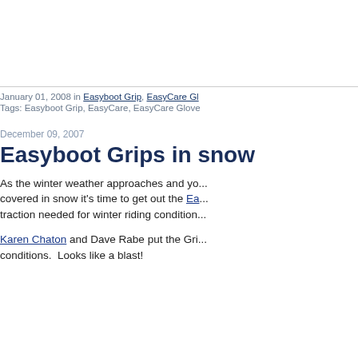January 01, 2008 in Easyboot Grip, EasyCare Gl...
Tags: Easyboot Grip, EasyCare, EasyCare Glove...
December 09, 2007
Easyboot Grips in snow
As the winter weather approaches and yo... covered in snow it's time to get out the Ea... traction needed for winter riding condition...
Karen Chaton and Dave Rabe put the Gri... conditions.  Looks like a blast!